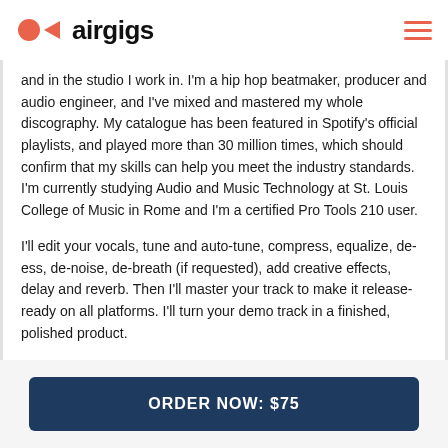airgigs
and in the studio I work in. I'm a hip hop beatmaker, producer and audio engineer, and I've mixed and mastered my whole discography. My catalogue has been featured in Spotify's official playlists, and played more than 30 million times, which should confirm that my skills can help you meet the industry standards. I'm currently studying Audio and Music Technology at St. Louis College of Music in Rome and I'm a certified Pro Tools 210 user.
I'll edit your vocals, tune and auto-tune, compress, equalize, de-ess, de-noise, de-breath (if requested), add creative effects, delay and reverb. Then I'll master your track to make it release-ready on all platforms. I'll turn your demo track in a finished, polished product.
IMPORTANT: the price is intended for a single vocal artist. Each additional voice costs extra 20$.
ORDER NOW: $75